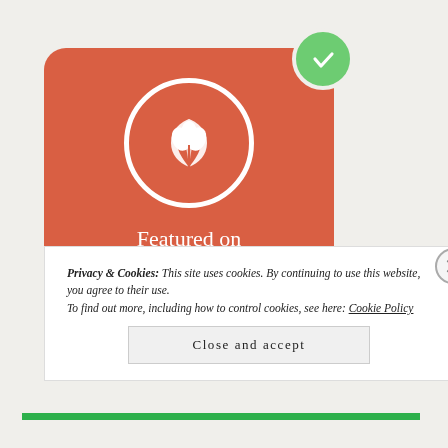[Figure (logo): BookSirens 'Featured on' badge: a rounded rectangle with coral/red-orange background, a white circle containing a white leaf/plant icon, text 'Featured on BookSirens' in white, and a green checkmark circle in the top-right corner.]
Privacy & Cookies: This site uses cookies. By continuing to use this website, you agree to their use.
To find out more, including how to control cookies, see here: Cookie Policy
Close and accept